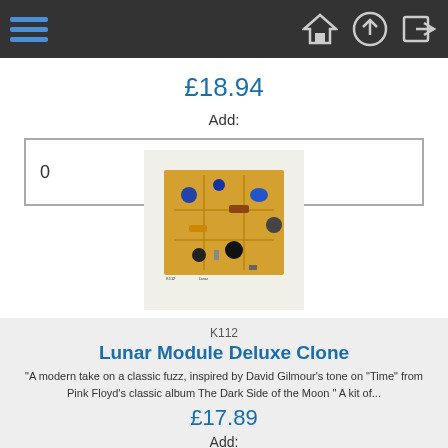Navigation bar with hamburger menu and icons
£18.94
Add:
0
[Figure (photo): Circuit board kit photo for an electronics product]
K112
Lunar Module Deluxe Clone
"A modern take on a classic fuzz, inspired by David Gilmour's tone on "Time" from Pink Floyd's classic album The Dark Side of the Moon " A kit of...
£17.89
Add:
0